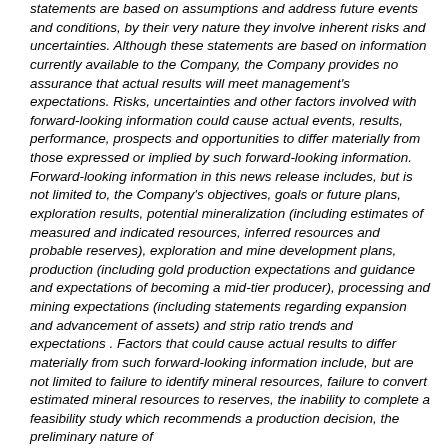statements are based on assumptions and address future events and conditions, by their very nature they involve inherent risks and uncertainties. Although these statements are based on information currently available to the Company, the Company provides no assurance that actual results will meet management's expectations. Risks, uncertainties and other factors involved with forward-looking information could cause actual events, results, performance, prospects and opportunities to differ materially from those expressed or implied by such forward-looking information. Forward-looking information in this news release includes, but is not limited to, the Company's objectives, goals or future plans, exploration results, potential mineralization (including estimates of measured and indicated resources, inferred resources and probable reserves), exploration and mine development plans, production (including gold production expectations and guidance and expectations of becoming a mid-tier producer), processing and mining expectations (including statements regarding expansion and advancement of assets) and strip ratio trends and expectations . Factors that could cause actual results to differ materially from such forward-looking information include, but are not limited to failure to identify mineral resources, failure to convert estimated mineral resources to reserves, the inability to complete a feasibility study which recommends a production decision, the preliminary nature of